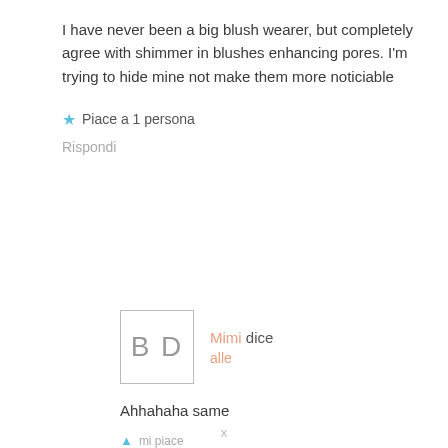I have never been a big blush wearer, but completely agree with shimmer in blushes enhancing pores. I'm trying to hide mine not make them more noticiable
★ Piace a 1 persona
Rispondi
Mimi dice alle
Ahhahaha same
mi piace